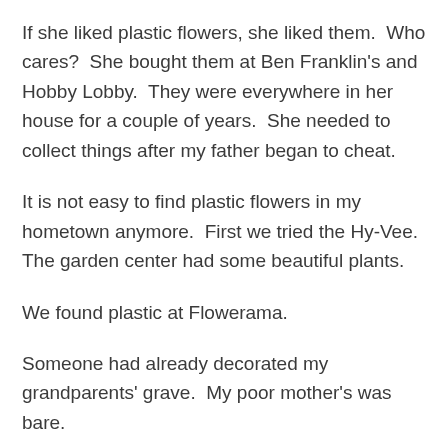If she liked plastic flowers, she liked them.  Who cares?  She bought them at Ben Franklin's and Hobby Lobby.  They were everywhere in her house for a couple of years.  She needed to collect things after my father began to cheat.
It is not easy to find plastic flowers in my hometown anymore.  First we tried the Hy-Vee.  The garden center had some beautiful plants.
We found plastic at Flowerama.
Someone had already decorated my grandparents' grave.  My poor mother's was bare.